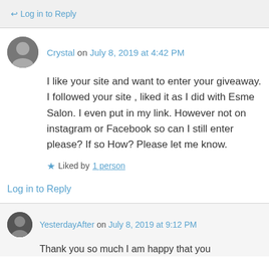Log in to Reply
Crystal on July 8, 2019 at 4:42 PM
I like your site and want to enter your giveaway. I followed your site , liked it as I did with Esme Salon. I even put in my link. However not on instagram or Facebook so can I still enter please? If so How? Please let me know.
Liked by 1 person
Log in to Reply
YesterdayAfter on July 8, 2019 at 9:12 PM
Thank you so much I am happy that you